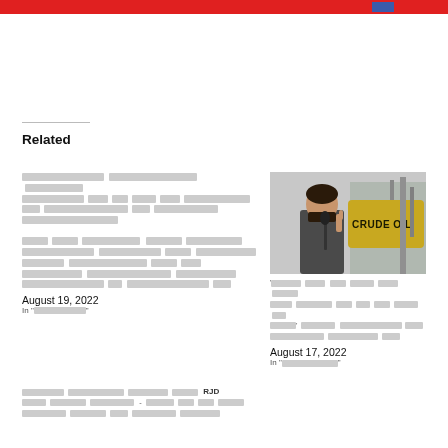Related
[redacted Hindi text] August 19, 2022 In "[redacted]"
[Figure (photo): Man speaking into microphone in front of a tank labeled CRUDE OIL]
[redacted Hindi text] August 17, 2022 In "[redacted-category]"
[redacted Hindi text with RJD]